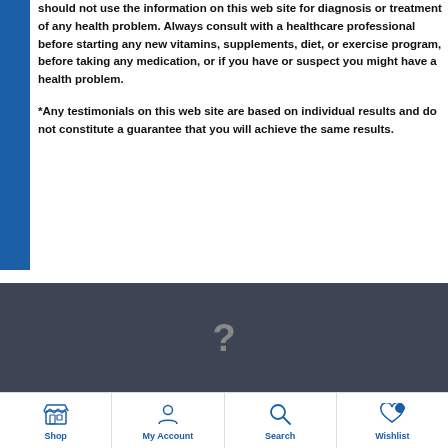should not use the information on this web site for diagnosis or treatment of any health problem. Always consult with a healthcare professional before starting any new vitamins, supplements, diet, or exercise program, before taking any medication, or if you have or suspect you might have a health problem.
*Any testimonials on this web site are based on individual results and do not constitute a guarantee that you will achieve the same results.
[Figure (other): Dark grey footer bar with a grey question mark symbol in the center]
Shop | My Account | Search | Wishlist